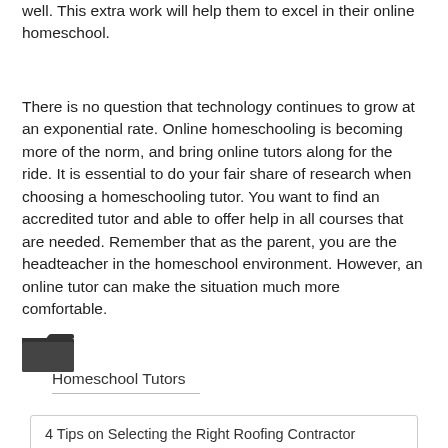well. This extra work will help them to excel in their online homeschool.
There is no question that technology continues to grow at an exponential rate. Online homeschooling is becoming more of the norm, and bring online tutors along for the ride. It is essential to do your fair share of research when choosing a homeschooling tutor. You want to find an accredited tutor and able to offer help in all courses that are needed. Remember that as the parent, you are the headteacher in the homeschool environment. However, an online tutor can make the situation much more comfortable.
[Figure (illustration): Folder icon]
Homeschool Tutors
4 Tips on Selecting the Right Roofing Contractor